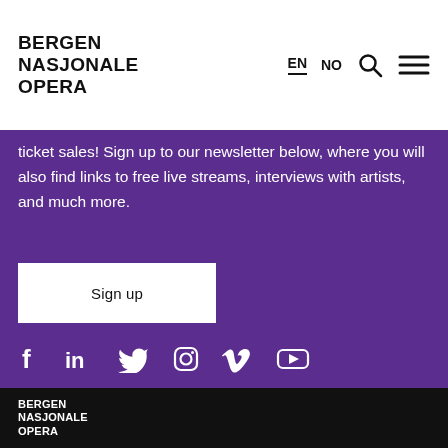BERGEN NASJONALE OPERA
ticket sales! Sign up to our newsletter below, where you will also find links to free live streams, interviews with artists, and much more.
[Figure (other): Sign up button - white rectangle on purple background]
[Figure (other): Social media icons row: Facebook, LinkedIn, Twitter, Instagram, Vimeo, YouTube]
BERGEN NASJONALE OPERA